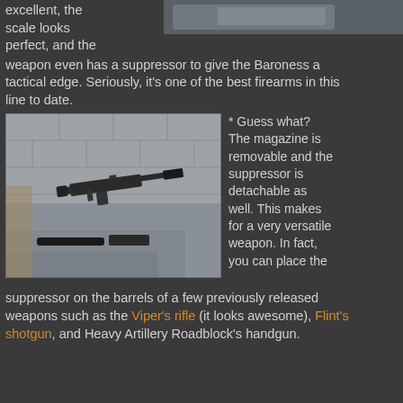excellent, the scale looks perfect, and the weapon even has a suppressor to give the Baroness a tactical edge. Seriously, it's one of the best firearms in this line to date.
[Figure (photo): Close-up photo of a small detailed miniature submachine gun with suppressor and removable magazine on a gray stepped surface/display stand]
* Guess what? The magazine is removable and the suppressor is detachable as well. This makes for a very versatile weapon. In fact, you can place the suppressor on the barrels of a few previously released weapons such as the Viper's rifle (it looks awesome), Flint's shotgun, and Heavy Artillery Roadblock's handgun.